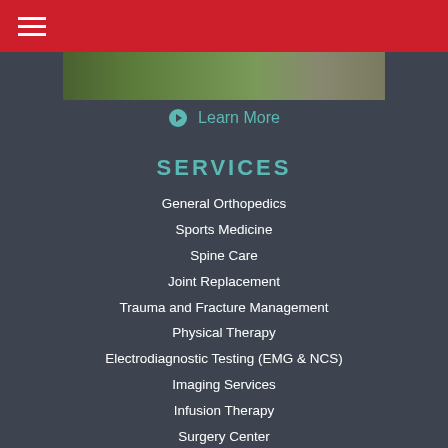≡
[Figure (photo): Aerial/landscape banner photo of a city or campus with trees and buildings]
➤ Learn More
SERVICES
General Orthopedics
Sports Medicine
Spine Care
Joint Replacement
Trauma and Fracture Management
Physical Therapy
Electrodiagnostic Testing (EMG & NCS)
Imaging Services
Infusion Therapy
Surgery Center